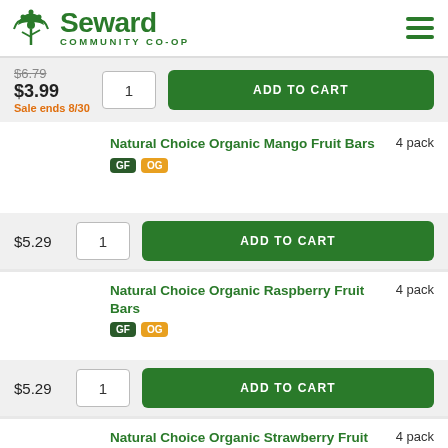Seward Community Co-op
$6.79 $3.99 Sale ends 8/30
Natural Choice Organic Mango Fruit Bars, 4 pack, GF OG, $5.29
Natural Choice Organic Raspberry Fruit Bars, 4 pack, GF OG, $5.29
Natural Choice Organic Strawberry Fruit Bars, 4 pack